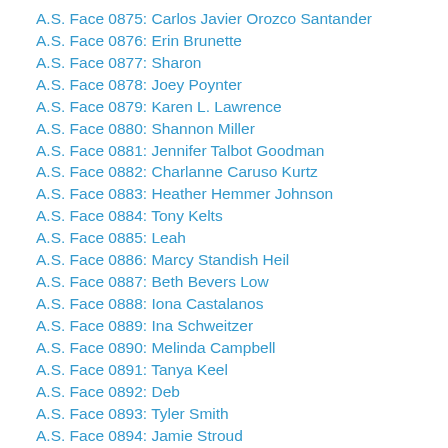A.S. Face 0875: Carlos Javier Orozco Santander
A.S. Face 0876: Erin Brunette
A.S. Face 0877: Sharon
A.S. Face 0878: Joey Poynter
A.S. Face 0879: Karen L. Lawrence
A.S. Face 0880: Shannon Miller
A.S. Face 0881: Jennifer Talbot Goodman
A.S. Face 0882: Charlanne Caruso Kurtz
A.S. Face 0883: Heather Hemmer Johnson
A.S. Face 0884: Tony Kelts
A.S. Face 0885: Leah
A.S. Face 0886: Marcy Standish Heil
A.S. Face 0887: Beth Bevers Low
A.S. Face 0888: Iona Castalanos
A.S. Face 0889: Ina Schweitzer
A.S. Face 0890: Melinda Campbell
A.S. Face 0891: Tanya Keel
A.S. Face 0892: Deb
A.S. Face 0893: Tyler Smith
A.S. Face 0894: Jamie Stroud